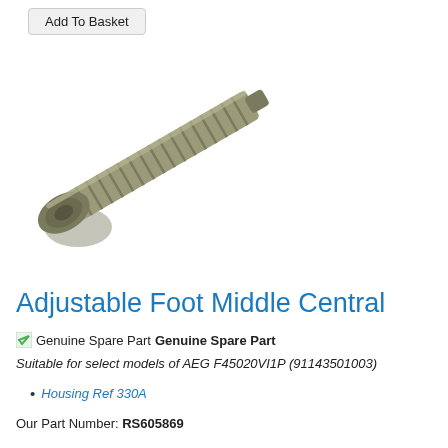Add To Basket
[Figure (photo): Photo of an adjustable foot middle central part — a grey/olive threaded cylindrical component with a flanged base, resembling a threaded bolt or leveling foot, shown diagonally.]
Adjustable Foot Middle Central
Genuine Spare Part
Suitable for select models of AEG F45020VI1P (91143501003)
Housing Ref 330A
Our Part Number: RS605869